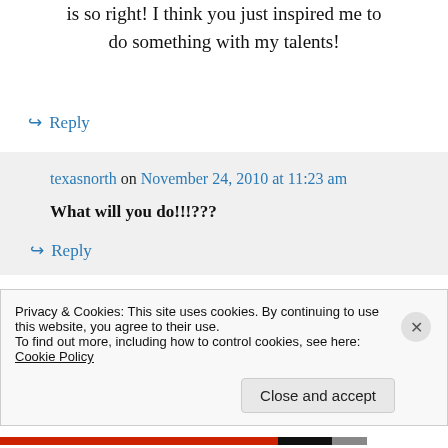is so right! I think you just inspired me to do something with my talents!
↪ Reply
texasnorth on November 24, 2010 at 11:23 am
What will you do!!!???
↪ Reply
Privacy & Cookies: This site uses cookies. By continuing to use this website, you agree to their use.
To find out more, including how to control cookies, see here: Cookie Policy
Close and accept